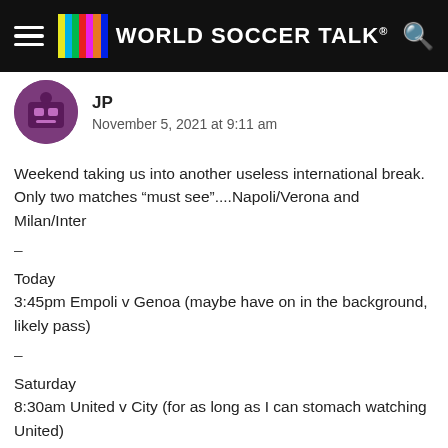WORLD SOCCER TALK
JP
November 5, 2021 at 9:11 am
Weekend taking us into another useless international break. Only two matches “must see”….Napoli/Verona and Milan/Inter
–
Today
3:45pm Empoli v Genoa (maybe have on in the background, likely pass)
–
Saturday
8:30am United v City (for as long as I can stomach watching United)
10:00am Spezia v Torino
10:30am Bayern v Freiburg (usually when I make a point to watch a Bayern match with top of the table